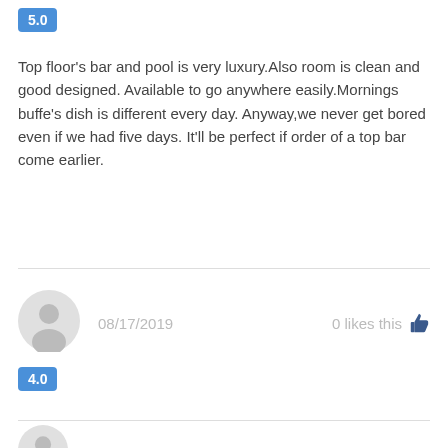5.0
Top floor's bar and pool is very luxury.Also room is clean and good designed. Available to go anywhere easily.Mornings buffe's dish is different every day. Anyway,we never get bored even if we had five days. It'll be perfect if order of a top bar come earlier.
08/17/2019
0 likes this
4.0